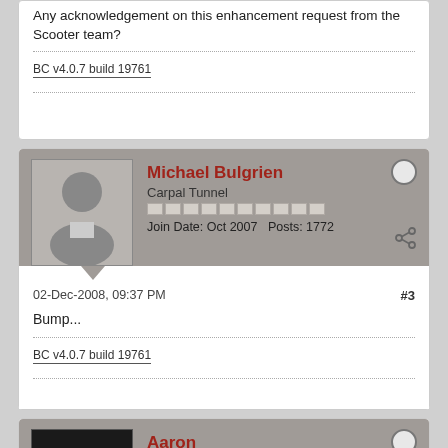Any acknowledgement on this enhancement request from the Scooter team?
BC v4.0.7 build 19761
Michael Bulgrien
Carpal Tunnel
Join Date: Oct 2007   Posts: 1772
02-Dec-2008, 09:37 PM
#3
Bump...
BC v4.0.7 build 19761
Aaron
Team Scooter